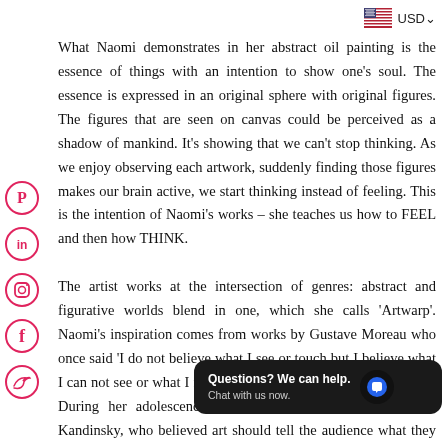[Figure (logo): US flag icon and USD currency selector in top right corner]
What Naomi demonstrates in her abstract oil painting is the essence of things with an intention to show one's soul. The essence is expressed in an original sphere with original figures. The figures that are seen on canvas could be perceived as a shadow of mankind. It's showing that we can't stop thinking. As we enjoy observing each artwork, suddenly finding those figures makes our brain active, we start thinking instead of feeling. This is the intention of Naomi's works – she teaches us how to FEEL and then how THINK.
[Figure (infographic): Social media icons on left side: Pinterest, LinkedIn, Instagram, Facebook, Twitter - all in pink/red circle outlines]
The artist works at the intersection of genres: abstract and figurative worlds blend in one, which she calls 'Artwarp'. Naomi's inspiration comes from works by Gustave Moreau who once said 'I do not believe what I see or touch but I believe what I can not see or what I feel', this is a reality for the artist as well. During her adolescence, she was also inspired by Wassily Kandinsky, who believed art should tell the audience what they want to say through the
[Figure (screenshot): Chat widget: Questions? We can help. Chat with us now. Dark background with blue chat bubble icon.]